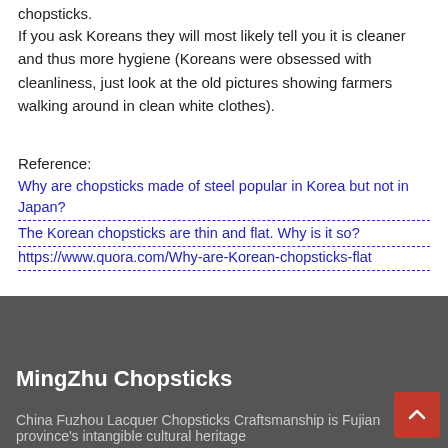chopsticks.
If you ask Koreans they will most likely tell you it is cleaner and thus more hygiene (Koreans were obsessed with cleanliness, just look at the old pictures showing farmers walking around in clean white clothes).
Reference:
Why are chopsticks made of steel popular in Korea but not in Japan?
The Korean chopsticks are thin and flat. Why is it so?
https://www.quora.com/Why-are-Korean-chopsticks-flat
MingZhu Chopsticks
China Fuzhou Lacquer Chopsticks Craftsmanship is Fujian province's intangible cultural heritage